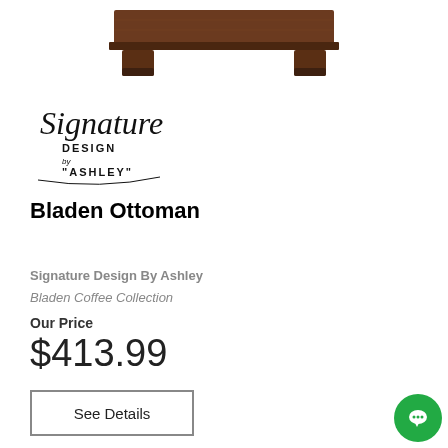[Figure (photo): Top portion of a dark brown wooden ottoman with block legs, product photo on white background]
[Figure (logo): Signature Design by Ashley logo with cursive 'Signature' text and 'DESIGN by ASHLEY' in block letters]
Bladen Ottoman
Signature Design By Ashley
Bladen Coffee Collection
Our Price
$413.99
See Details